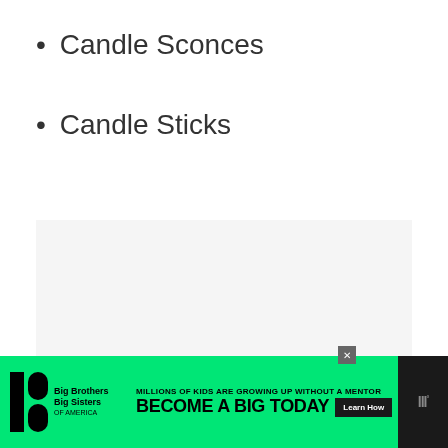Candle Sconces
Candle Sticks
[Figure (other): Light gray rectangular placeholder box]
[Figure (other): Advertisement banner: Big Brothers Big Sisters. Text: MILLIONS OF KIDS ARE GROWING UP WITHOUT A MENTOR. BECOME A BIG TODAY. Learn How button. Green and black color scheme.]